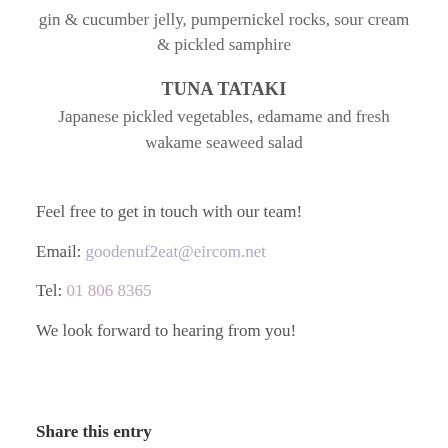gin & cucumber jelly, pumpernickel rocks, sour cream & pickled samphire
TUNA TATAKI
Japanese pickled vegetables, edamame and fresh wakame seaweed salad
Feel free to get in touch with our team!
Email: goodenuf2eat@eircom.net
Tel: 01 806 8365
We look forward to hearing from you!
Share this entry